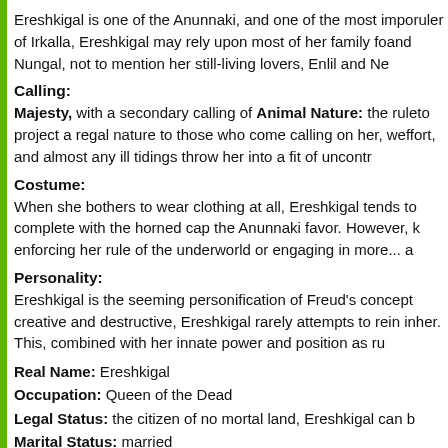Ereshkigal is one of the Anunnaki, and one of the most important. As ruler of Irkalla, Ereshkigal may rely upon most of her family for support, and Nungal, not to mention her still-living lovers, Enlil and Ne...
Calling:
Majesty, with a secondary calling of Animal Nature: the ruler tends to project a regal nature to those who come calling on her, with effort, and almost any ill tidings throw her into a fit of uncontro...
Costume:
When she bothers to wear clothing at all, Ereshkigal tends to complete with the horned cap the Anunnaki favor. However, enforcing her rule of the underworld or engaging in more... a...
Personality:
Ereshkigal is the seeming personification of Freud's concept... creative and destructive, Ereshkigal rarely attempts to rein in her. This, combined with her innate power and position as ru...
Real Name: Ereshkigal
Occupation: Queen of the Dead
Legal Status: the citizen of no mortal land, Ereshkigal can b...
Marital Status: married
Alias(es), if any: none
Group Affiliation: the Anunnaki